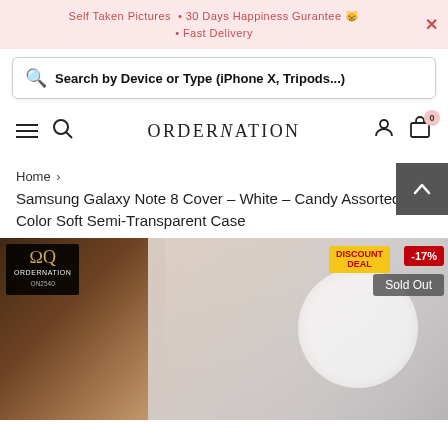Self Taken Pictures  • 30 Days Happiness Gurantee 🐱  • Fast Delivery
Search by Device or Type (iPhone X, Tripods...)
[Figure (logo): OrderNation logo and navigation bar with hamburger menu, search icon, ORDERNATION brand name, user icon, and cart icon with badge 0]
Home > Samsung Galaxy Note 8 Cover - White - Candy Assorted Color Soft Semi-Transparent Case
[Figure (photo): Product photo of Samsung Galaxy Note 8 white semi-transparent case on a wooden stand, with OrderNation logo overlay, DISCOUNT DEAL badge, -17% badge, and Sold Out label]